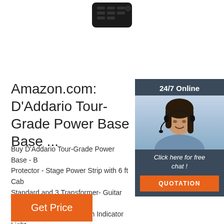[Figure (photo): Product image of D'Addario Tour-Grade Power Base, partial view from top showing black device]
Amazon.com: D'Addario Tour-Grade Power Base Base ...
Buy D'Addario Tour-Grade Power Base - B Protector - Stage Power Strip with 6 ft Cab Standard and 3 Transformer- Guitar Amp Music Surge Protector with Indicator Light Strips - Amazon.com FREE DELIVERY po on eligible purchases
[Figure (photo): 24/7 Online chat widget with woman wearing headset, dark blue background, 'Click here for free chat!' text and orange QUOTATION button]
Get Price